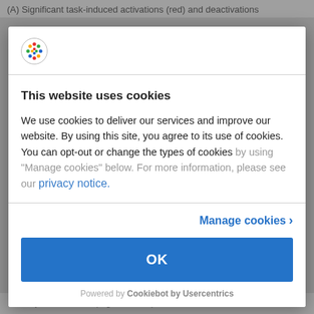(A) Significant task-induced activations (red) and deactivations
[Figure (logo): Cookiebot logo - colorful dots arranged in a circle]
This website uses cookies
We use cookies to deliver our services and improve our website. By using this site, you agree to its use of cookies. You can opt-out or change the types of cookies by using “Manage cookies” below. For more information, please see our privacy notice.
Manage cookies >
OK
Powered by Cookiebot by Usercentrics
y within the DMN (negative values) and